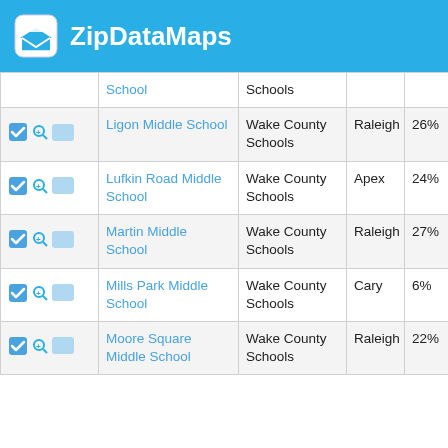ZipDataMaps
|  | School | District | City | % |
| --- | --- | --- | --- | --- |
| [icon] | School | Schools |  |  |
| [icon] | Ligon Middle School | Wake County Schools | Raleigh | 26% |
| [icon] | Lufkin Road Middle School | Wake County Schools | Apex | 24% |
| [icon] | Martin Middle School | Wake County Schools | Raleigh | 27% |
| [icon] | Mills Park Middle School | Wake County Schools | Cary | 6% |
| [icon] | Moore Square Middle School | Wake County Schools | Raleigh | 22% |